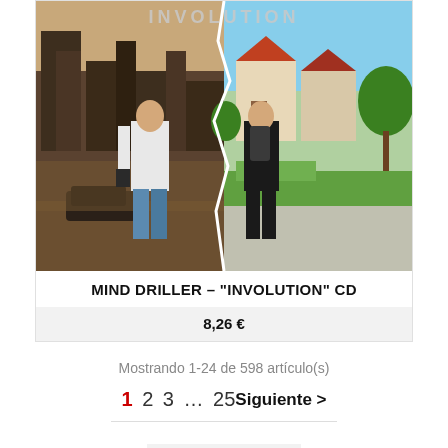[Figure (photo): Album cover for Mind Driller 'Involution' CD showing a split image: left side is a post-apocalyptic ruined city with a person in a white t-shirt and jeans, right side is a quiet suburban neighborhood with the same person in a black outfit with a backpack. The word 'INVOLUTION' appears at the top.]
MIND DRILLER – "INVOLUTION" CD
8,26 €
Mostrando 1-24 de 598 artículo(s)
1 2 3 ... 25   Siguiente >
Volver arriba ^